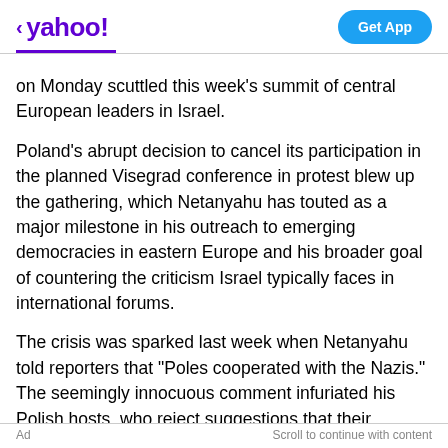< yahoo! | Get App
on Monday scuttled this week's summit of central European leaders in Israel.
Poland's abrupt decision to cancel its participation in the planned Visegrad conference in protest blew up the gathering, which Netanyahu has touted as a major milestone in his outreach to emerging democracies in eastern Europe and his broader goal of countering the criticism Israel typically faces in international forums.
The crisis was sparked last week when Netanyahu told reporters that "Poles cooperated with the Nazis." The seemingly innocuous comment infuriated his Polish hosts, who reject suggestions that their country collaborated with Hitler.
Ad    Scroll to continue with content